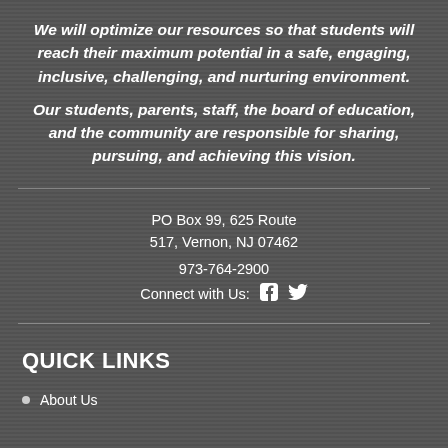We will optimize our resources so that students will reach their maximum potential in a safe, engaging, inclusive, challenging, and nurturing environment.
Our students, parents, staff, the board of education, and the community are responsible for sharing, pursuing, and achieving this vision.
PO Box 99, 625 Route 517, Vernon, NJ 07462
973-764-2900
Connect with Us:
QUICK LINKS
About Us